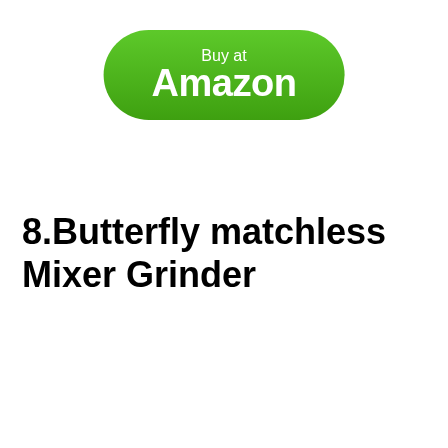[Figure (other): Green rounded rectangle button with white text 'Buy at Amazon']
8.Butterfly matchless Mixer Grinder